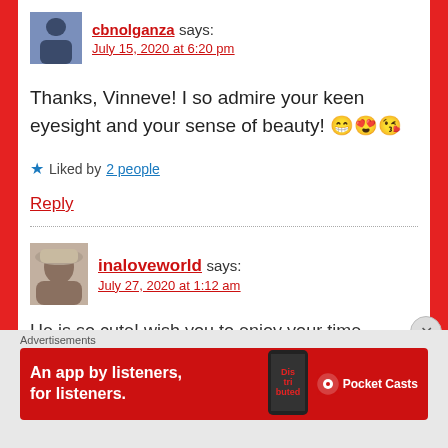cbnolganza says: July 15, 2020 at 6:20 pm
Thanks, Vinneve! I so admire your keen eyesight and your sense of beauty! 😁😍😘
★ Liked by 2 people
Reply
inaloveworld says: July 27, 2020 at 1:12 am
He is so cute! wish you to enjoy your time...
Advertisements
An app by listeners, for listeners. Pocket Casts